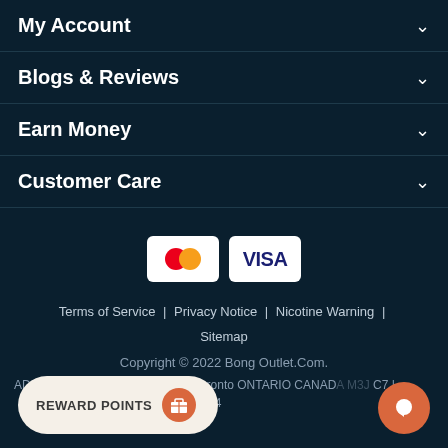My Account
Blogs & Reviews
Earn Money
Customer Care
[Figure (logo): Mastercard and Visa payment card logos]
Terms of Service | Privacy Notice | Nicotine Warning | Sitemap
Copyright © 2022 Bong Outlet.Com.
ADDRESS: #29-1111 Flint Road, Toronto ONTARIO CANADA ... | ...661-6664
REWARD POINTS